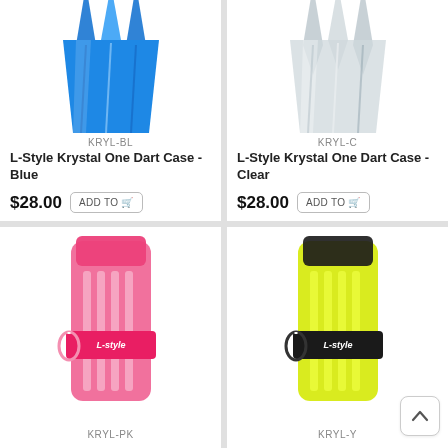[Figure (photo): L-Style Krystal One Dart Case in Blue, shown partially from top]
KRYL-BL
L-Style Krystal One Dart Case - Blue
$28.00
ADD TO
[Figure (photo): L-Style Krystal One Dart Case in Clear, shown partially from top]
KRYL-C
L-Style Krystal One Dart Case - Clear
$28.00
ADD TO
[Figure (photo): L-Style Krystal One Dart Case in Pink (KRYL-PK), full product shot with L-Style logo band]
KRYL-PK
[Figure (photo): L-Style Krystal One Dart Case in Yellow (KRYL-Y), full product shot with L-Style logo band]
KRYL-Y